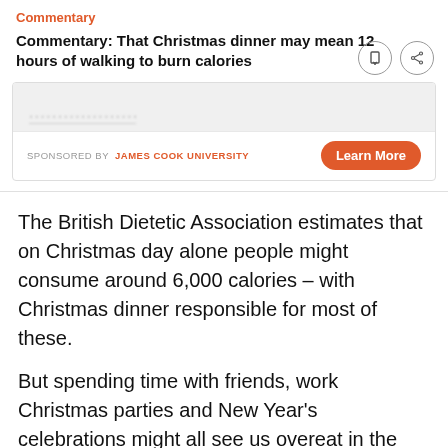Commentary
Commentary: That Christmas dinner may mean 12 hours of walking to burn calories
[Figure (screenshot): Partially visible sponsored advertisement banner with blurred/obscured top text, 'SPONSORED BY JAMES COOK UNIVERSITY' label and an orange 'Learn More' button]
The British Dietetic Association estimates that on Christmas day alone people might consume around 6,000 calories – with Christmas dinner responsible for most of these.
But spending time with friends, work Christmas parties and New Year's celebrations might all see us overeat in the days and even weeks before and after Christmas. It's no wonder the average adult gains around 0.5-1 kg over the Christmas holidays.